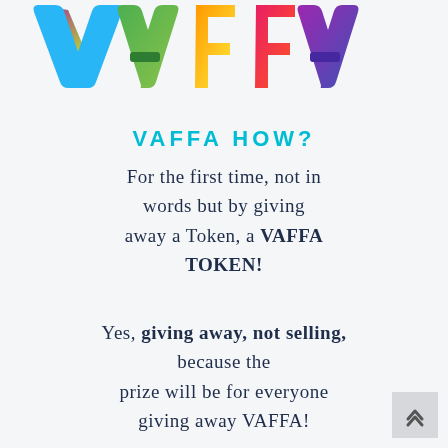[Figure (illustration): Colorful 3D plastic letters spelling VAFFA at the top of the page on a white/light grey background]
VAFFA HOW?
For the first time, not in words but by giving away a Token, a VAFFA TOKEN!
Yes, giving away, not selling, because the prize will be for everyone giving away VAFFA!